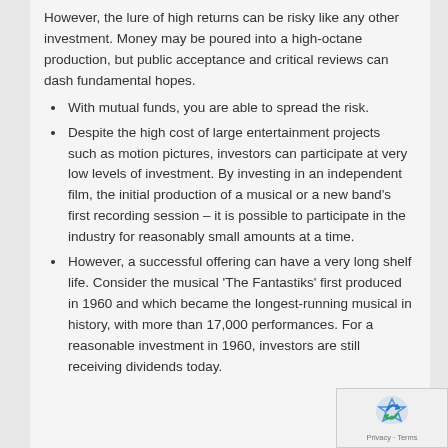However, the lure of high returns can be risky like any other investment. Money may be poured into a high-octane production, but public acceptance and critical reviews can dash fundamental hopes.
With mutual funds, you are able to spread the risk.
Despite the high cost of large entertainment projects such as motion pictures, investors can participate at very low levels of investment. By investing in an independent film, the initial production of a musical or a new band's first recording session – it is possible to participate in the industry for reasonably small amounts at a time.
However, a successful offering can have a very long shelf life. Consider the musical 'The Fantastiks' first produced in 1960 and which became the longest-running musical in history, with more than 17,000 performances. For a reasonable investment in 1960, investors are still receiving dividends today.